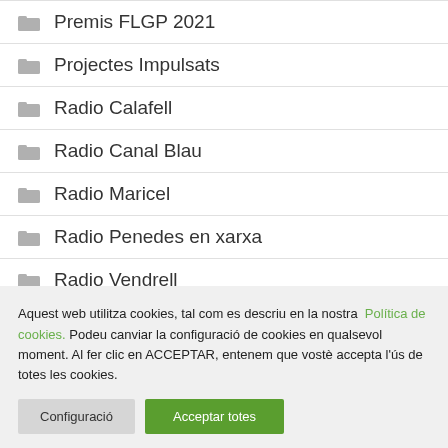Premis FLGP 2021
Projectes Impulsats
Radio Calafell
Radio Canal Blau
Radio Maricel
Radio Penedes en xarxa
Radio Vendrell
Aquest web utilitza cookies, tal com es descriu en la nostra Política de cookies. Podeu canviar la configuració de cookies en qualsevol moment. Al fer clic en ACCEPTAR, entenem que vostè accepta l'ús de totes les cookies.